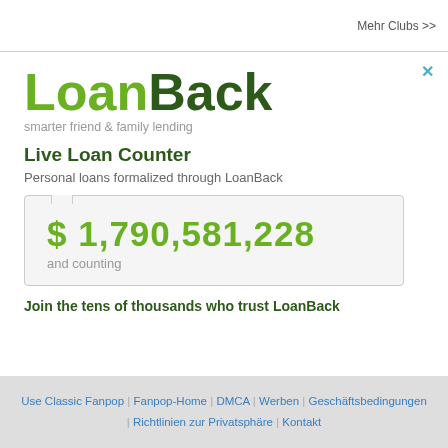Mehr Clubs >>
[Figure (logo): LoanBack logo with green text and tagline 'smarter friend & family lending']
Live Loan Counter
Personal loans formalized through LoanBack
$ 1,790,581,228
and counting
Join the tens of thousands who trust LoanBack
Use Classic Fanpop | Fanpop-Home | DMCA | Werben | Geschäftsbedingungen | Richtlinien zur Privatsphäre | Kontakt